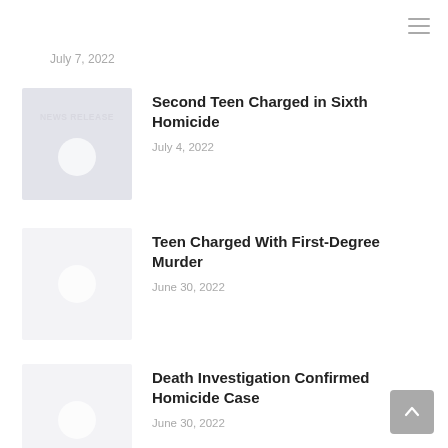July 7, 2022
Second Teen Charged in Sixth Homicide
July 4, 2022
Teen Charged With First-Degree Murder
June 30, 2022
Death Investigation Confirmed Homicide Case
June 30, 2022